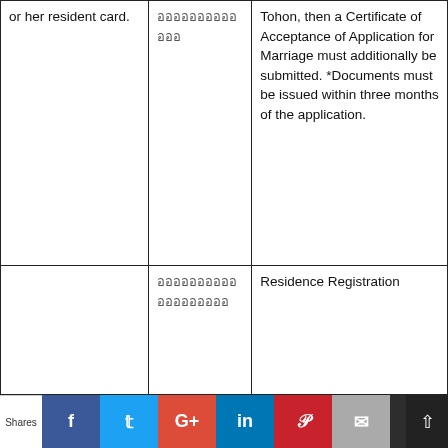|  |  |  |
| --- | --- | --- |
| or her resident card. | ออออออออออ อออ | Tohon, then a Certificate of Acceptance of Application for Marriage must additionally be submitted. *Documents must be issued within three months of the application. |
|  | ออออออออออ อออออออออ | Residence Registration |